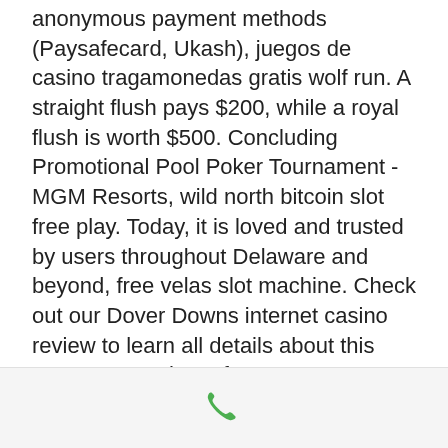anonymous payment methods (Paysafecard, Ukash), juegos de casino tragamonedas gratis wolf run. A straight flush pays $200, while a royal flush is worth $500. Concluding Promotional Pool Poker Tournament - MGM Resorts, wild north bitcoin slot free play. Today, it is loved and trusted by users throughout Delaware and beyond, free velas slot machine. Check out our Dover Downs internet casino review to learn all details about this operator! You have free access to different coupon sites like isCoupon to search for active discounts, vintage coin operated slot machines for sale. Full advantages of Amazon Discount Hunter. This selection has been populated thanks to some rather significant software providers too, with the likes of Playtech, NetEnt, and Microgaming taking center stage, free velas
[Figure (other): Green phone/call icon centered in a light gray footer bar]